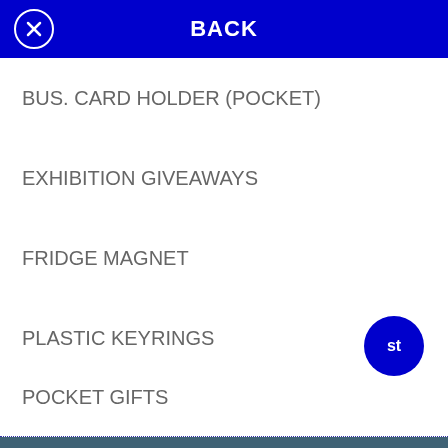BACK
BUS. CARD HOLDER (POCKET)
EXHIBITION GIVEAWAYS
FRIDGE MAGNET
PLASTIC KEYRINGS
POCKET GIFTS